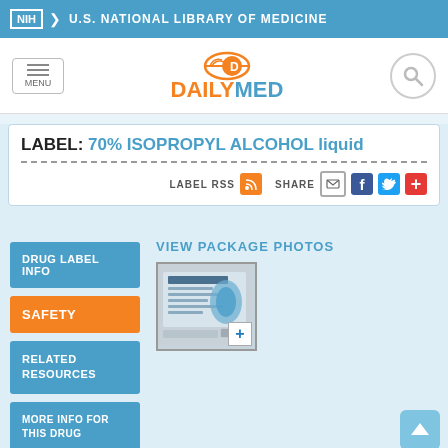NIH U.S. NATIONAL LIBRARY OF MEDICINE
[Figure (logo): DailyMed logo with orange pill icon and text DAILYMED]
LABEL: 70% ISOPROPYL ALCOHOL liquid
LABEL RSS  SHARE
DRUG LABEL INFO
SAFETY
RELATED RESOURCES
MORE INFO FOR THIS DRUG
VIEW PACKAGE PHOTOS
[Figure (photo): Package photo of 70% Isopropyl Alcohol liquid product showing label with blue design]